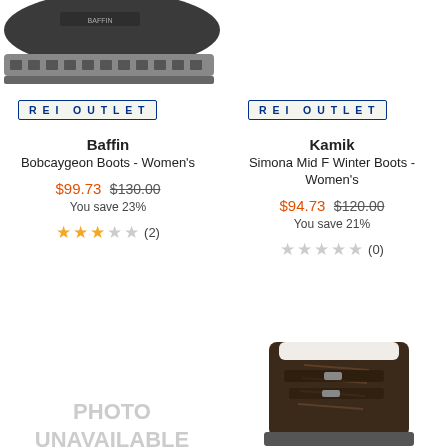[Figure (photo): Grey boot sole/bottom of a dark boot, top-left corner, partially cropped]
REI OUTLET
REI OUTLET
Baffin
Bobcaygeon Boots - Women's
$99.73 $130.00
You save 23%
★★★☆☆ (2)
Kamik
Simona Mid F Winter Boots - Women's
$94.73 $120.00
You save 21%
☆☆☆☆☆ (0)
PHOTO
UNAVAILABLE
[Figure (photo): Dark brown lace-up winter boot, partially cropped, bottom-right corner]